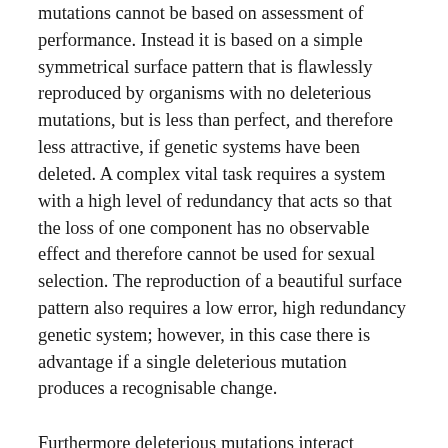mutations cannot be based on assessment of performance. Instead it is based on a simple symmetrical surface pattern that is flawlessly reproduced by organisms with no deleterious mutations, but is less than perfect, and therefore less attractive, if genetic systems have been deleted. A complex vital task requires a system with a high level of redundancy that acts so that the loss of one component has no observable effect and therefore cannot be used for sexual selection. The reproduction of a beautiful surface pattern also requires a low error, high redundancy genetic system; however, in this case there is advantage if a single deleterious mutation produces a recognisable change.
Furthermore deleterious mutations interact synergistically causing impaired performance in individual systems and this leads to a positive correlation between the total number of deleterious mutations in the genome and impaired performance across the whole spectrum of biological capability. This includes performance in intellectual tasks, sporting ability, the ability to fight disease and preserve health and the development of a symmetrical physical form. Sexual reproduction distributes